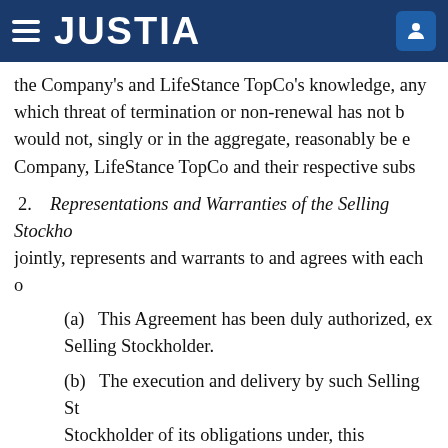JUSTIA
the Company's and LifeStance TopCo's knowledge, any which threat of termination or non-renewal has not b would not, singly or in the aggregate, reasonably be e Company, LifeStance TopCo and their respective subs
2. Representations and Warranties of the Selling Stockho jointly, represents and warrants to and agrees with each o
(a) This Agreement has been duly authorized, ex Selling Stockholder.
(b) The execution and delivery by such Selling St Stockholder of its obligations under, this Agreement w law, (ii) the organizational documents of such Selling S natural person), (iii) any agreement or other instrume (iv) any judgment, order or decree of any government such Selling Stockholder, except in the case of clauses aggregate, have a material adverse effect on the abilit